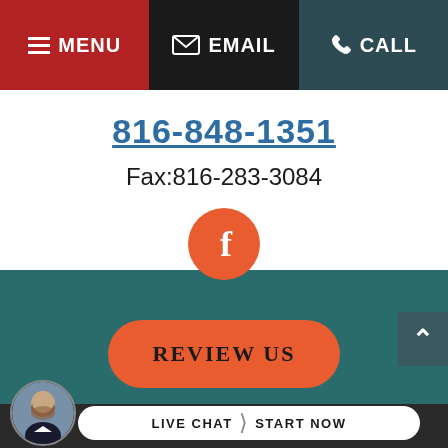MENU | EMAIL | CALL
816-848-1351
Fax:816-283-3084
[Figure (other): Orange circle with Facebook 'f' logo icon]
[Figure (other): Orange rounded rectangle button labeled REVIEW US]
[Figure (other): Dark teal scroll-to-top button with upward chevron]
LIVE CHAT  |  START NOW